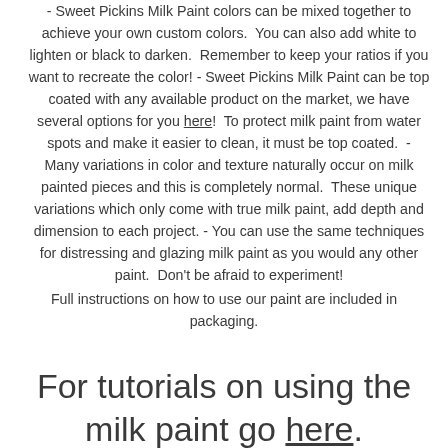- Sweet Pickins Milk Paint colors can be mixed together to achieve your own custom colors.  You can also add white to lighten or black to darken.  Remember to keep your ratios if you want to recreate the color! - Sweet Pickins Milk Paint can be top coated with any available product on the market, we have several options for you here!  To protect milk paint from water spots and make it easier to clean, it must be top coated.  - Many variations in color and texture naturally occur on milk painted pieces and this is completely normal.  These unique variations which only come with true milk paint, add depth and dimension to each project. - You can use the same techniques for distressing and glazing milk paint as you would any other paint.  Don't be afraid to experiment!
Full instructions on how to use our paint are included in packaging.
For tutorials on using the milk paint go here.